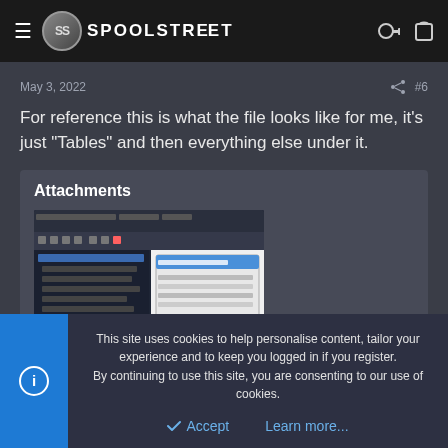SPOOLSTREET
May 3, 2022   #6
For reference this is what the file looks like for me, it's just "Tables" and then everything else under it.
Attachments
[Figure (screenshot): Screenshot of a software application showing a file/table structure view]
This site uses cookies to help personalise content, tailor your experience and to keep you logged in if you register.
By continuing to use this site, you are consenting to our use of cookies.